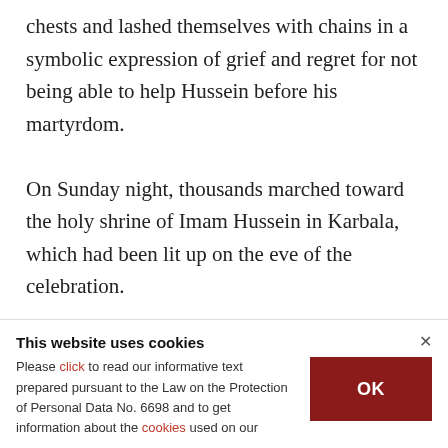chests and lashed themselves with chains in a symbolic expression of grief and regret for not being able to help Hussein before his martyrdom.

On Sunday night, thousands marched toward the holy shrine of Imam Hussein in Karbala, which had been lit up on the eve of the celebration.
LAST UPDATE: SEP 10, 2019 6:03 PM
[Figure (other): Social sharing icons: Twitter, Facebook, LinkedIn, Email, Link]
This website uses cookies
Please click to read our informative text prepared pursuant to the Law on the Protection of Personal Data No. 6698 and to get information about the cookies used on our